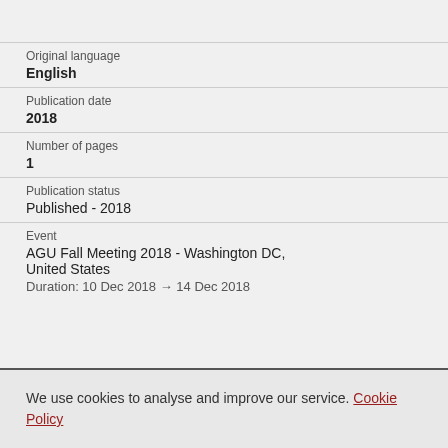Original language
English
Publication date
2018
Number of pages
1
Publication status
Published - 2018
Event
AGU Fall Meeting 2018 - Washington DC, United States
Duration: 10 Dec 2018 → 14 Dec 2018
We use cookies to analyse and improve our service. Cookie Policy